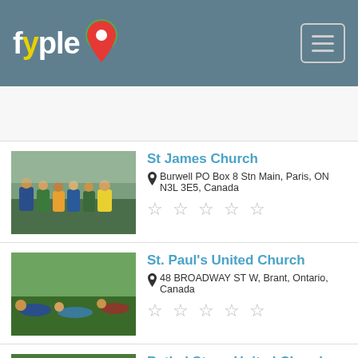fyple
[Figure (photo): St James Church group photo indoors]
St James Church
Burwell PO Box 8 Stn Main, Paris, ON N3L 3E5, Canada
☆ ☆ ☆ ☆ ☆
[Figure (photo): St. Paul's United Church outdoor group activity]
St. Paul's United Church
48 BROADWAY ST W, Brant, Ontario, Canada
☆ ☆ ☆ ☆ ☆
[Figure (photo): Bethel Stone United Church building exterior]
Bethel Stone United Church
154 Bethel Rd RR 23, Paris, ON N3L 3E3, Canada